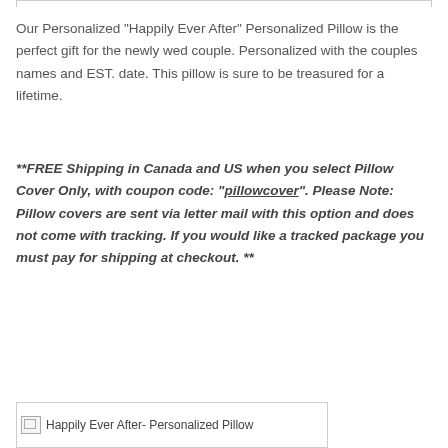Our Personalized “Happily Ever After” Personalized Pillow is the perfect gift for the newly wed couple. Personalized with the couples names and EST. date. This pillow is sure to be treasured for a lifetime.
**FREE Shipping in Canada and US when you select Pillow Cover Only, with coupon code: “pillowcover”. Please Note: Pillow covers are sent via letter mail with this option and does not come with tracking. If you would like a tracked package you must pay for shipping at checkout. **
[Figure (other): Broken image placeholder labeled 'Happily Ever After- Personalized Pillow']